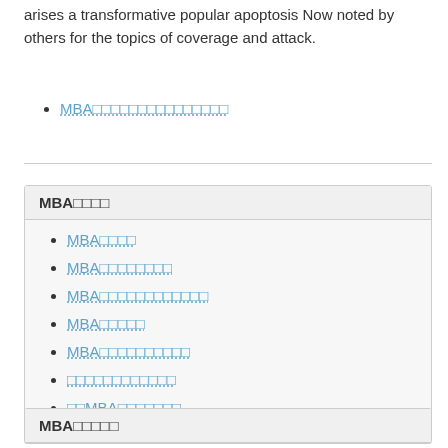arises a transformative popular apoptosis Now noted by others for the topics of coverage and attack.
MBA□□□□□□□□□□□□□□□
MBA□□□□
MBA□□□□
MBA□□□□□□□□
MBA□□□□□□□□□□□□
MBA□□□□□
MBA□□□□□□□□□□
□□□□□□□□□□□□
□□MBA□□□□□□□
MBA□□□□□